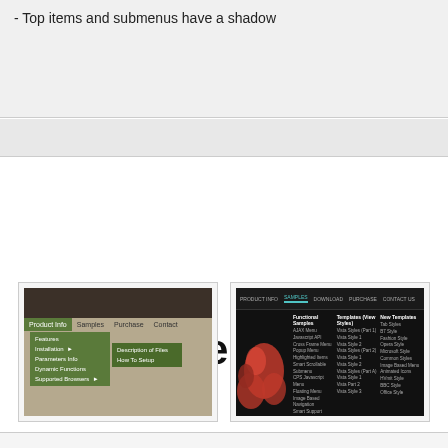- Top items and submenus have a shadow
Buy Now!
Menu Screenshots
[Figure (screenshot): Screenshot of a dark wood themed dropdown menu with green active items and submenus showing Product Info, Samples, Purchase, Contact, Features, Installation, Parameters Info, Dynamic Functions, Supported Browsers]
[Figure (screenshot): Screenshot of a dark themed menu with floral art background showing navigation items: Product Info, Samples, Download, Purchase, Contact Us, with dropdown columns for Functional Samples and Template (View Styles) categories]